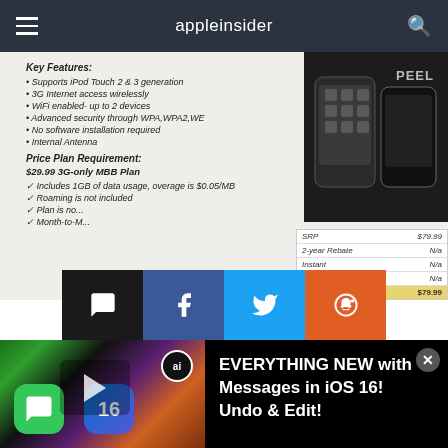appleinsider
[Figure (photo): Product page for a mobile accessory (Peel) with key features list, price plan, and price table showing SRP $79.99. Includes image of iPod Touch with the Peel case.]
[Figure (infographic): Four social share buttons: comment (dark), Facebook (blue), Twitter (blue), Reddit (orange)]
AppleInsider is supported by its audience and may earn commission as an Amazon Associate and affiliate
[Figure (screenshot): Ad banner: EVERYTHING NEW with Messages in iOS 16! Undo & Edit!]